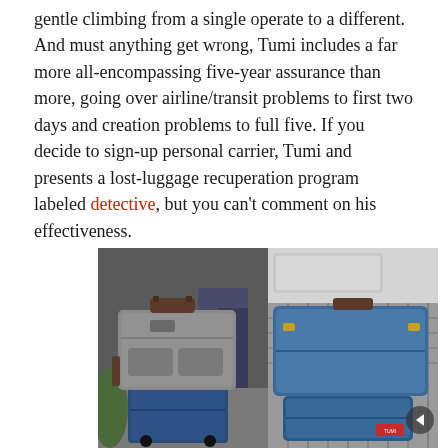gentle climbing from a single operate to a different. And must anything get wrong, Tumi includes a far more all-encompassing five-year assurance than more, going over airline/transit problems to first two days and creation problems to full five. If you decide to sign-up personal carrier, Tumi and presents a lost-luggage recuperation program labeled detective, but you can't comment on his effectiveness.
[Figure (photo): Two side-by-side photos of Tumi luggage. Left photo shows a grey Tumi briefcase/laptop bag on top of a dark blue rolling suitcase in an airport or transit setting. Right photo shows blue Tumi bags on an airport conveyor belt or security screening belt.]